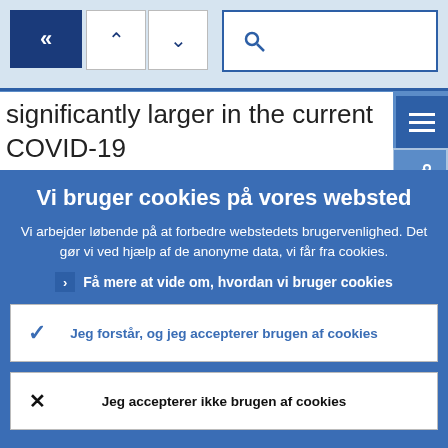[Figure (screenshot): Website navigation bar with back button, up/down arrows, and search bar on a light blue background]
significantly larger in the current COVID-19 pandemic than during the financial crisis, a
Vi bruger cookies på vores websted
Vi arbejder løbende på at forbedre webstedets brugervenlighed. Det gør vi ved hjælp af de anonyme data, vi får fra cookies.
Få mere at vide om, hvordan vi bruger cookies
Jeg forstår, og jeg accepterer brugen af cookies
Jeg accepterer ikke brugen af cookies